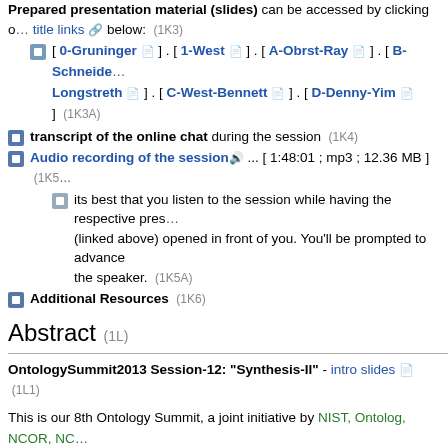Prepared presentation material (slides) can be accessed by clicking on the title links below: (1K3)
[ 0-Gruninger ] . [ 1-West ] . [ A-Obrst-Ray ] . [ B-Schneider-Longstreth ] . [ C-West-Bennett ] . [ D-Denny-Yim ] (1K3A)
transcript of the online chat during the session (1K4)
Audio recording of the session ... [ 1:48:01 ; mp3 ; 12.36 MB ] (1K5)
its best that you listen to the session while having the respective presentation (linked above) opened in front of you. You'll be prompted to advance slides by the speaker. (1K5A)
Additional Resources (1K6)
Abstract (1L)
OntologySummit2013 Session-12: "Synthesis-II" - intro slides (1L1)
This is our 8th Ontology Summit, a joint initiative by NIST, Ontolog, NCOR, NCO_NITRD with the support of our co-sponsors. The theme adopted for this is: "Ontology Evaluation Across the Ontology Lifecycle." (1L2)
Currently, there is no agreed methodology for development of ontologies, and universally agreed metrics for ontology evaluation. At the same time, everybody there are a lot of badly engineered ontologies out there, thus people use -- at some criteria for the evaluation of ontologies. (1L3)
During this Ontology Summit, we seek to identify best practices for ontology d